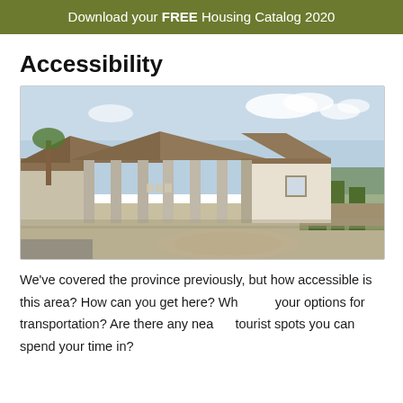Download your FREE Housing Catalog 2020
Accessibility
[Figure (illustration): 3D rendering of a tropical-style open-air pavilion structure with a large sloped roof supported by pillars, adjacent to a white building, surrounded by gravel driveway and landscaping with palm trees and shrubs.]
We've covered the province previously, but how accessible is this area? How can you get here? What are your options for transportation? Are there any nearby tourist spots you can spend your time in?